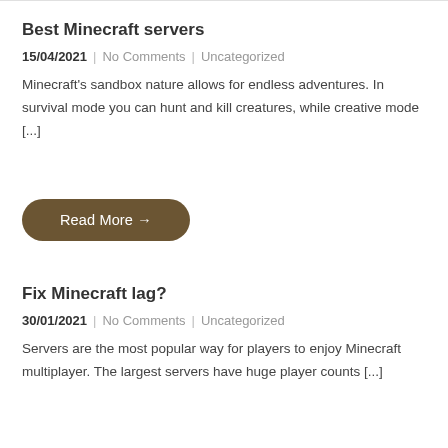Best Minecraft servers
15/04/2021  |  No Comments  |  Uncategorized
Minecraft's sandbox nature allows for endless adventures. In survival mode you can hunt and kill creatures, while creative mode [...]
Read More →
Fix Minecraft lag?
30/01/2021  |  No Comments  |  Uncategorized
Servers are the most popular way for players to enjoy Minecraft multiplayer. The largest servers have huge player counts [...]